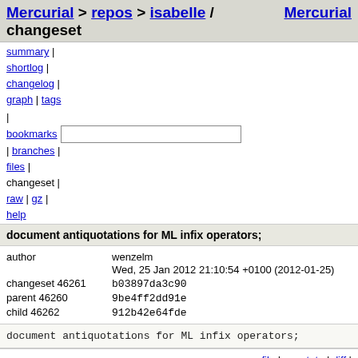Mercurial > repos > isabelle / changeset   Mercurial
summary | shortlog | changelog | graph | tags | bookmarks [input] | branches | files | changeset | raw | gz | help
document antiquotations for ML infix operators;
| author | wenzelm |  |
|  | Wed, 25 Jan 2012 21:10:54 +0100 (2012-01-25) |  |
| changeset 46261 | b03897da3c90 |  |
| parent 46260 | 9be4ff2dd91e |  |
| child 46262 | 912b42e64fde |  |
document antiquotations for ML infix operators;
doc-src/IsarRef/Thy/Document_Preparation.thy   file | annotate | diff | comparison |